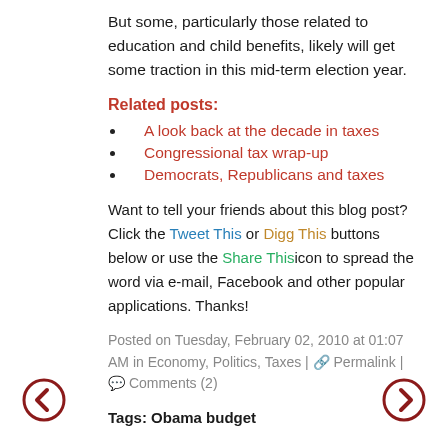But some, particularly those related to education and child benefits, likely will get some traction in this mid-term election year.
Related posts:
A look back at the decade in taxes
Congressional tax wrap-up
Democrats, Republicans and taxes
Want to tell your friends about this blog post? Click the Tweet This or Digg This buttons below or use the Share This icon to spread the word via e-mail, Facebook and other popular applications. Thanks!
Posted on Tuesday, February 02, 2010 at 01:07 AM in Economy, Politics, Taxes | Permalink | Comments (2)
Tags: Obama budget